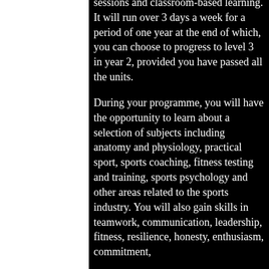sessions and classroom-based learning. It will run over 3 days a week for a period of one year at the end of which, you can choose to progress to level 3 in year 2, provided you have passed all the units.
During your programme, you will have the opportunity to learn about a selection of subjects including anatomy and physiology, practical sport, sports coaching, fitness testing and training, sports psychology and other areas related to the sports industry. You will also gain skills in teamwork, communication, leadership, fitness, resilience, honesty, enthusiasm, commitment,